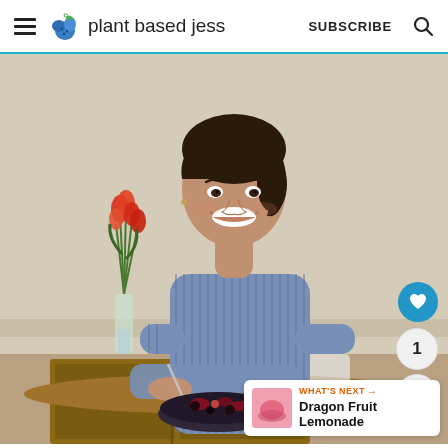plant based jess — SUBSCRIBE
[Figure (photo): A smiling woman with dark hair pulled back, wearing a blue striped button-up shirt, sitting at a wooden dining table holding a spoon over a bowl of dark berries and granola. Red tulips in a glass vase visible in the background. Website screenshot from 'plant based jess' food blog.]
WHAT'S NEXT → Dragon Fruit Lemonade